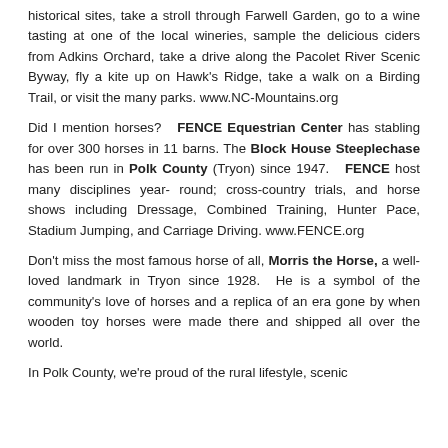historical sites, take a stroll through Farwell Garden, go to a wine tasting at one of the local wineries, sample the delicious ciders from Adkins Orchard, take a drive along the Pacolet River Scenic Byway, fly a kite up on Hawk's Ridge, take a walk on a Birding Trail, or visit the many parks. www.NC-Mountains.org
Did I mention horses? FENCE Equestrian Center has stabling for over 300 horses in 11 barns. The Block House Steeplechase has been run in Polk County (Tryon) since 1947. FENCE host many disciplines year-round; cross-country trials, and horse shows including Dressage, Combined Training, Hunter Pace, Stadium Jumping, and Carriage Driving. www.FENCE.org
Don't miss the most famous horse of all, Morris the Horse, a well-loved landmark in Tryon since 1928. He is a symbol of the community's love of horses and a replica of an era gone by when wooden toy horses were made there and shipped all over the world.
In Polk County, we're proud of the rural lifestyle, scenic